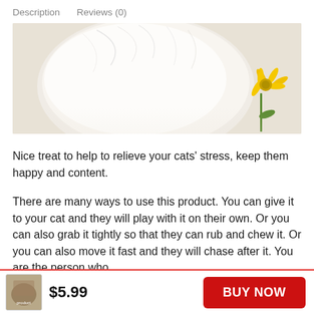Description   Reviews (0)
[Figure (photo): A white fluffy cat toy ball with a yellow flower/daisy in the background, on a cream/beige surface.]
Nice treat to help to relieve your cats’ stress, keep them happy and content.
There are many ways to use this product. You can give it to your cat and they will play with it on their own. Or you can also grab it tightly so that they can rub and chew it. Or you can also move it fast and they will chase after it. You are the person who
$5.99   BUY NOW